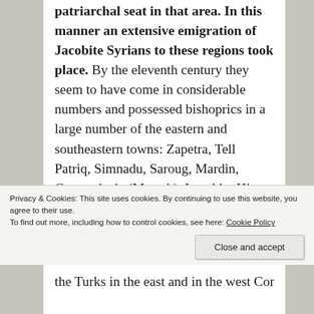patriarchal seat in that area. In this manner an extensive emigration of Jacobite Syrians to these regions took place. By the eleventh century they seem to have come in considerable numbers and possessed bishoprics in a large number of the eastern and southeastern towns: Zapetra, Tell Patriq, Simnadu, Saroug, Mardin, Germaniceia (Marash), Laqabin, Hisn Mansur, Goubbos, Gaihan-Barid, Callisura, Mayefarrikin, Arabissus, Melitene, Anazarba, Tarsus, Amid, Edessa, Kaisum, Nisibis, Tell Arsanias, Claudia, Hisn Ziad, Caesareia (at least by the twelfth century if not earlier), Samosata, and Gargar. They spread as far north as the Armenian town of Erzindjan where they possessed a
Privacy & Cookies: This site uses cookies. By continuing to use this website, you agree to their use.
To find out more, including how to control cookies, see here: Cookie Policy
the Turks in the east and in the west Constantinople